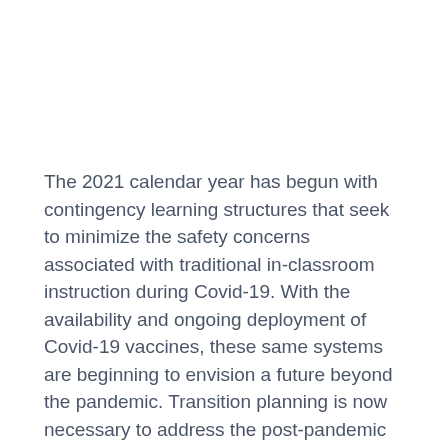The 2021 calendar year has begun with contingency learning structures that seek to minimize the safety concerns associated with traditional in-classroom instruction during Covid-19. With the availability and ongoing deployment of Covid-19 vaccines, these same systems are beginning to envision a future beyond the pandemic. Transition planning is now necessary to address the post-pandemic needs and expectations of students, parents and staff.